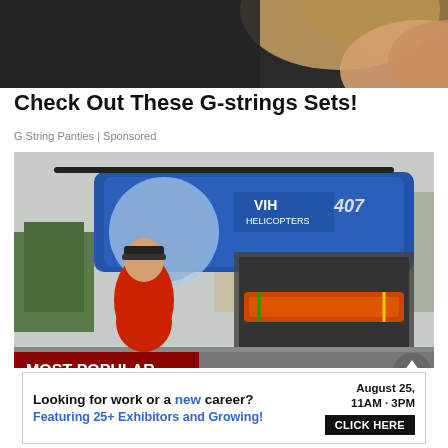[Figure (photo): Cropped photo showing a woman's shoulder and hair from a fashion/lingerie advertisement at the top of the page]
Check Out These G-strings Sets!
G String Panties | Sponsored
[Figure (photo): A person in a red jacket standing beside a blue VIH Helicopters helicopter with open doors showing orange rescue equipment and a stretcher inside. A 'MOST POPULAR' red label is overlaid at the bottom left. A grey scroll-up arrow button is at the bottom right.]
[Figure (infographic): Advertisement banner: 'Looking for work or a new career? August 25, 11AM - 3PM. Featuring 25+ Exhibitors and Growing! CLICK HERE']